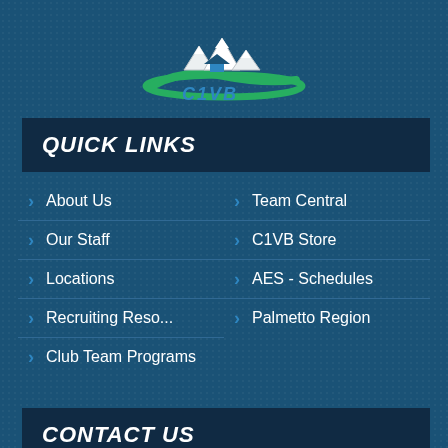[Figure (logo): Carolina One Volleyball (C1VB) logo with stylized mountains, a swoosh, and text]
QUICK LINKS
About Us
Team Central
Our Staff
C1VB Store
Locations
AES - Schedules
Recruiting Reso...
Palmetto Region
Club Team Programs
CONTACT US
CAROLINA ONE VOLLEYBALL